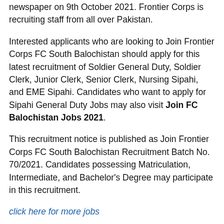newspaper on 9th October 2021. Frontier Corps is recruiting staff from all over Pakistan.
Interested applicants who are looking to Join Frontier Corps FC South Balochistan should apply for this latest recruitment of Soldier General Duty, Soldier Clerk, Junior Clerk, Senior Clerk, Nursing Sipahi, and EME Sipahi. Candidates who want to apply for Sipahi General Duty Jobs may also visit Join FC Balochistan Jobs 2021.
This recruitment notice is published as Join Frontier Corps FC South Balochistan Recruitment Batch No. 70/2021. Candidates possessing Matriculation, Intermediate, and Bachelor's Degree may participate in this recruitment.
click here for more jobs